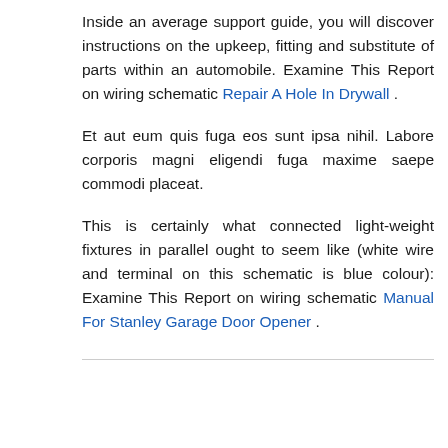Inside an average support guide, you will discover instructions on the upkeep, fitting and substitute of parts within an automobile. Examine This Report on wiring schematic Repair A Hole In Drywall .
Et aut eum quis fuga eos sunt ipsa nihil. Labore corporis magni eligendi fuga maxime saepe commodi placeat.
This is certainly what connected light-weight fixtures in parallel ought to seem like (white wire and terminal on this schematic is blue colour): Examine This Report on wiring schematic Manual For Stanley Garage Door Opener .